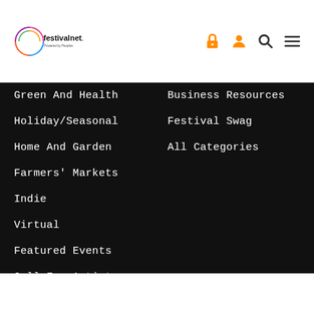[Figure (logo): FestivalNet logo with colorful circular graphic and text 'festivalnet.' with 'Powered by Peoples' subtitle]
[Figure (other): Navigation icons: lock/cart, user profile, search magnifier, hamburger menu - in orange color]
Green And Health
Holiday/Seasonal
Home And Garden
Farmers' Markets
Indie
Virtual
Featured Events
Call For Artists
Search
Business Resources
Festival Swag
All Categories